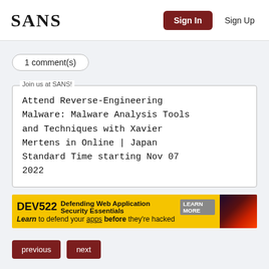SANS | Sign In | Sign Up
1 comment(s)
Join us at SANS! Attend Reverse-Engineering Malware: Malware Analysis Tools and Techniques with Xavier Mertens in Online | Japan Standard Time starting Nov 07 2022
[Figure (infographic): DEV522 Defending Web Application Security Essentials LEARN MORE — Learn to defend your apps before they're hacked]
previous   next